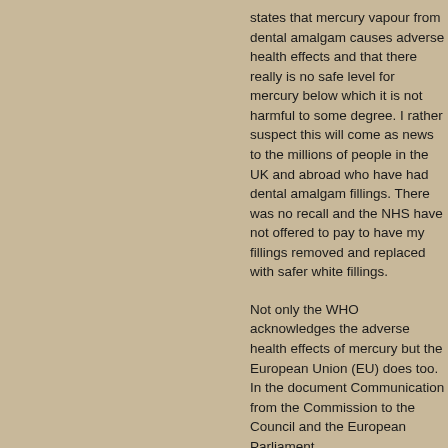states that mercury vapour from dental amalgam causes adverse health effects and that there really is no safe level for mercury below which it is not harmful to some degree. I rather suspect this will come as news to the millions of people in the UK and abroad who have had dental amalgam fillings. There was no recall and the NHS have not offered to pay to have my fillings removed and replaced with safer white fillings.
Not only the WHO acknowledges the adverse health effects of mercury but the European Union (EU) does too. In the document Communication from the Commission to the Council and the European Parliament